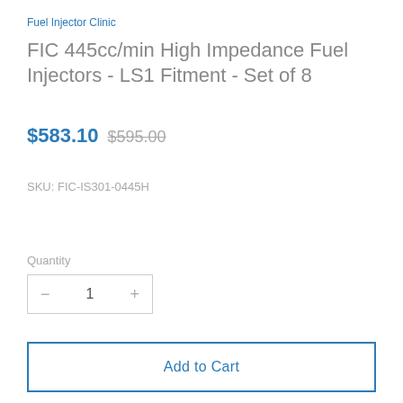Fuel Injector Clinic
FIC 445cc/min High Impedance Fuel Injectors - LS1 Fitment - Set of 8
$583.10  $595.00
SKU: FIC-IS301-0445H
Quantity
1
Add to Cart